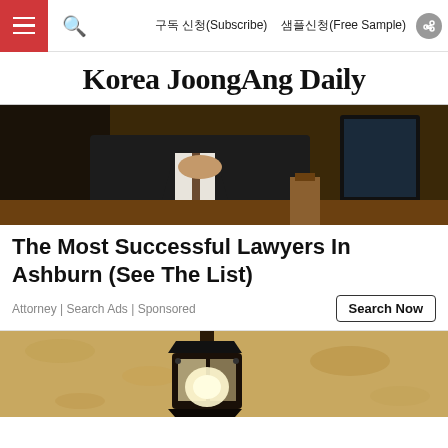구독 신청(Subscribe)  샘플신청(Free Sample)
Korea JoongAng Daily
[Figure (photo): A man in a dark business suit seated at a leather office chair, hands clasped, with a monitor and desk accessories visible in the background.]
The Most Successful Lawyers In Ashburn (See The List)
Attorney | Search Ads | Sponsored
[Figure (photo): An outdoor wall-mounted lantern light fixture against a textured stucco wall.]